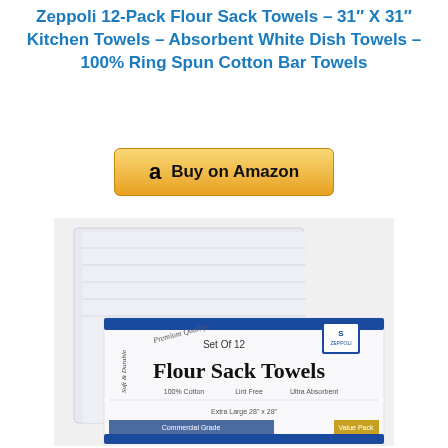Zeppoli 12-Pack Flour Sack Towels – 31″ X 31″ Kitchen Towels – Absorbent White Dish Towels – 100% Ring Spun Cotton Bar Towels
[Figure (other): Buy on Amazon button with Amazon logo 'a' icon on golden gradient background]
[Figure (photo): Product photo of Zeppoli Flour Sack Towels 12-pack packaged with blue band label reading 'Set Of 12 Flour Sack Towels', 'Premium Quality', 'Soft & Durable', '100% Cotton', 'Lint Free', 'Ultra Absorbent', 'Extra Large 28x28', 'Commercial Grade', 'Value Pack']